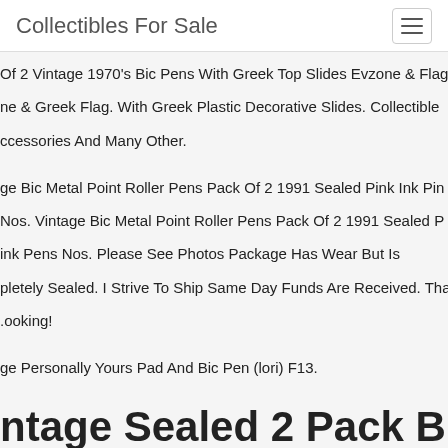Collectibles For Sale
Of 2 Vintage 1970's Bic Pens With Greek Top Slides Evzone & Flag. ne & Greek Flag. With Greek Plastic Decorative Slides. Collectible ccessories And Many Other.
ge Bic Metal Point Roller Pens Pack Of 2 1991 Sealed Pink Ink Pin Nos. Vintage Bic Metal Point Roller Pens Pack Of 2 1991 Sealed Pink Pens Nos. Please See Photos Package Has Wear But Is pletely Sealed. I Strive To Ship Same Day Funds Are Received. Tha .ooking!
ge Personally Yours Pad And Bic Pen (lori) F13.
ntage Sealed 2 Pack Bic Classic ic Medium Point Red Ink Ball Pe 992 Msp2
d 1992.